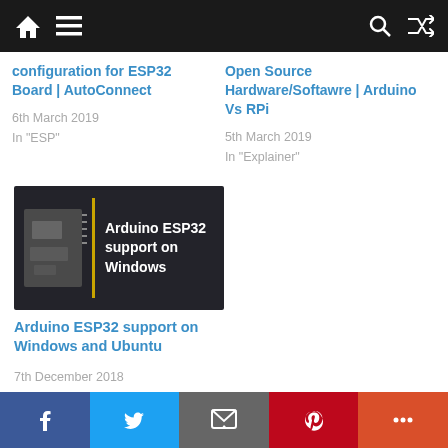Navigation bar with home, menu, search, shuffle icons
configuration for ESP32 Board | AutoConnect
6th March 2019
In "ESP"
Open Source Hardware/Softawre | Arduino Vs RPi
5th March 2019
In "Explainer"
[Figure (photo): Arduino ESP32 support on Windows thumbnail image with dark background, yellow vertical line, and circuit board graphic]
Arduino ESP32 support on Windows and Ubuntu
7th December 2018
In "ESP"
Social share bar: Facebook, Twitter, Email, Pinterest, More